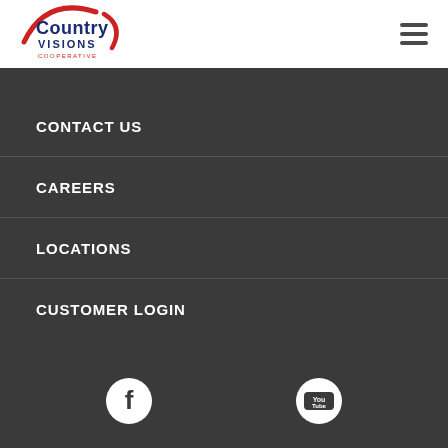[Figure (logo): Country Visions Cooperative logo with red arc and blue text]
[Figure (other): Hamburger menu icon with three horizontal lines]
CONTACT US
CAREERS
LOCATIONS
CUSTOMER LOGIN
[Figure (logo): Facebook social media icon - white F on dark circle]
[Figure (logo): YouTube social media icon - You Tube text in rounded rectangle on circle]